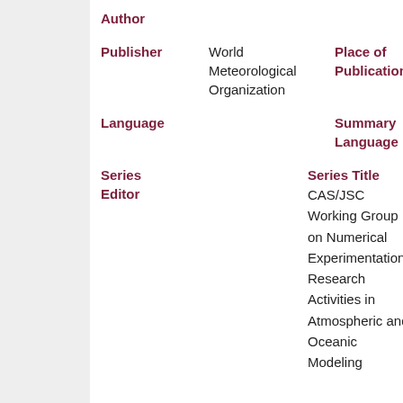| Field | Value | Field2 | Value2 |
| --- | --- | --- | --- |
| Author |  |  |  |
| Publisher | World Meteorological Organization | Place of Publication |  |
| Language |  | Summary Language |  |
| Series Editor |  | Series Title | CAS/JSC Working Group on Numerical Experimentation Research Activities in Atmospheric and Oceanic Modeling |